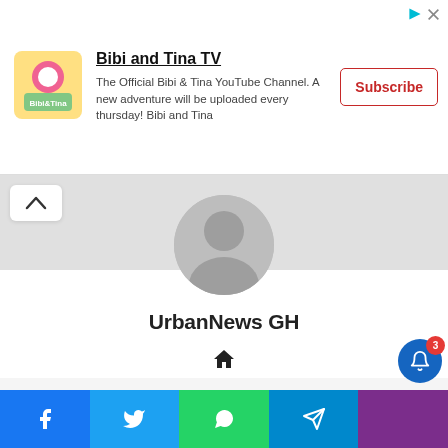[Figure (screenshot): Advertisement banner for Bibi and Tina TV YouTube channel with logo, description text, and Subscribe button]
Bibi and Tina TV
The Official Bibi & Tina YouTube Channel. A new adventure will be uploaded every thursday! Bibi and Tina
UrbanNews GH
[Figure (photo): Blurred photo of people in dark formal attire with a circular back navigation button overlay]
[Figure (other): Bottom social sharing bar with Facebook, Twitter, WhatsApp, Telegram icons and a notification bell with badge showing 3]